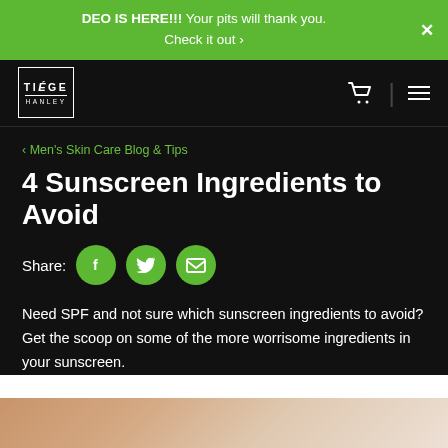DEO IS HERE!!! Your pits will thank you. Check it out >
[Figure (logo): Tiege Hanley logo in white on black navbar with cart and hamburger menu icons]
< Men's Skin Care Blog & Tips
4 Sunscreen Ingredients to Avoid
Share:
[Figure (infographic): Three green circular social share buttons: Facebook (f), Twitter (bird), Email (envelope)]
Need SPF and not sure which sunscreen ingredients to avoid? Get the scoop on some of the more worrisome ingredients in your sunscreen.
[Figure (photo): Bottom portion of a close-up photo showing human skin in warm tones]